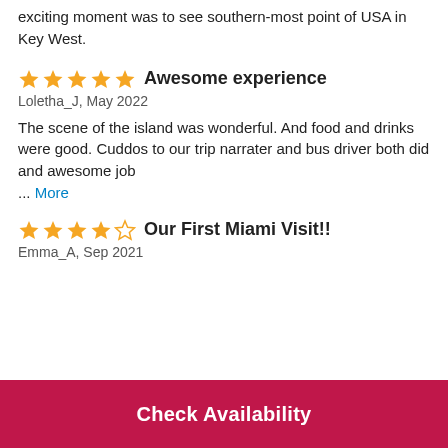exciting moment was to see southern-most point of USA in Key West.
Awesome experience
Loletha_J, May 2022
The scene of the island was wonderful. And food and drinks were good. Cuddos to our trip narrater and bus driver both did and awesome job
… More
Our First Miami Visit!!
Emma_A, Sep 2021
Check Availability